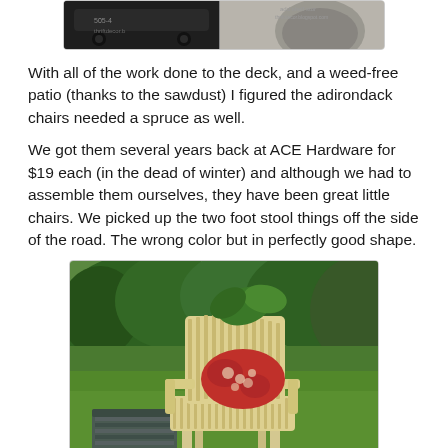[Figure (photo): Top cropped photo showing two images side by side: left is a dark image of a wheeled vehicle/cart, right is a lighter image of outdoor furniture]
With all of the work done to the deck, and a weed-free patio (thanks to the sawdust) I figured the adirondack chairs needed a spruce as well.
We got them several years back at ACE Hardware for $19 each (in the dead of winter) and although we had to assemble them ourselves, they have been great little chairs. We picked up the two foot stool things off the side of the road. The wrong color but in perfectly good shape.
[Figure (photo): Photo of a natural wood Adirondack chair with a red floral pillow, sitting on green grass with lush shrub garden in background. A dark green/grey foot stool is in front of the chair.]